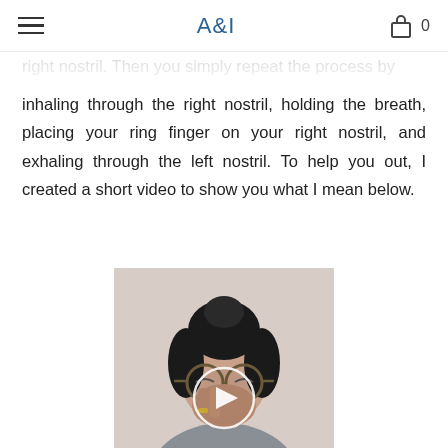A&I
right nostril. Then you simply repeat the process by inhaling through the right nostril, holding the breath, placing your ring finger on your right nostril, and exhaling through the left nostril. To help you out, I created a short video to show you what I mean below.
[Figure (photo): A woman with dark hair in a bun and glasses demonstrating alternate nostril breathing technique, with a play button overlay indicating a video.]